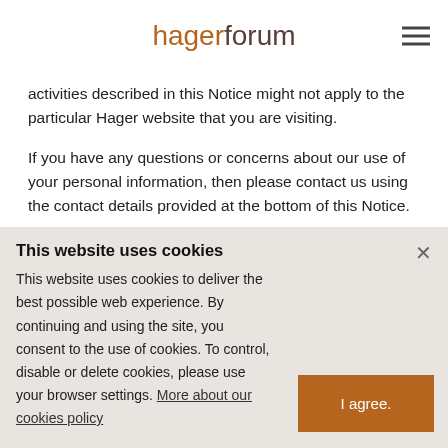hagerforum
activities described in this Notice might not apply to the particular Hager website that you are visiting.
If you have any questions or concerns about our use of your personal information, then please contact us using the contact details provided at the bottom of this Notice.
The Website that you are visiting is managed by the local Hager affiliate (hereafter "Hager"), who is the
This website uses cookies
This website uses cookies to deliver the best possible web experience. By continuing and using the site, you consent to the use of cookies. To control, disable or delete cookies, please use your browser settings. More about our cookies policy